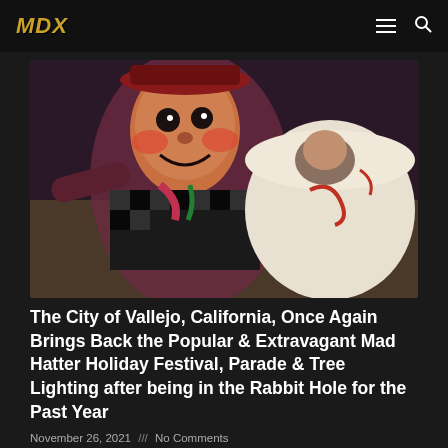MDX
[Figure (photo): A person in an elaborate Mad Hatter costume with a large painted face mask, wearing a checkered and patterned outfit, arms outstretched, standing next to a large white teacup prop with red swirl designs. Another person is visible inside the teacup. This appears to be from a holiday parade.]
The City of Vallejo, California, Once Again Brings Back the Popular & Extravagant Mad Hatter Holiday Festival, Parade & Tree Lighting after being in the Rabbit Hole for the Past Year
November 26, 2021 /// No Comments